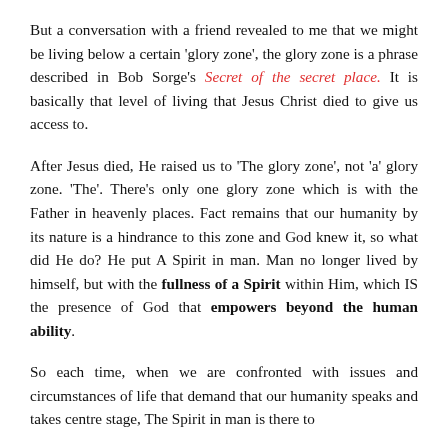But a conversation with a friend revealed to me that we might be living below a certain 'glory zone', the glory zone is a phrase described in Bob Sorge's Secret of the secret place. It is basically that level of living that Jesus Christ died to give us access to.
After Jesus died, He raised us to 'The glory zone', not 'a' glory zone. 'The'. There's only one glory zone which is with the Father in heavenly places. Fact remains that our humanity by its nature is a hindrance to this zone and God knew it, so what did He do? He put A Spirit in man. Man no longer lived by himself, but with the fullness of a Spirit within Him, which IS the presence of God that empowers beyond the human ability.
So each time, when we are confronted with issues and circumstances of life that demand that our humanity speaks and takes centre stage, The Spirit in man is there to